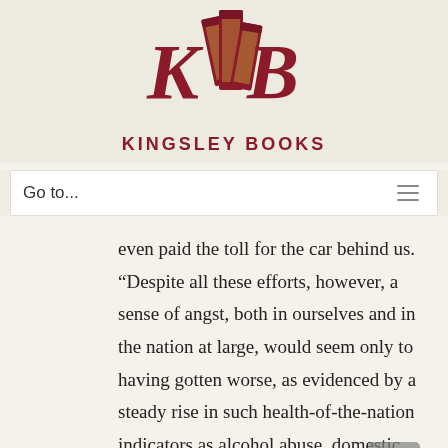[Figure (logo): Kingsley Books logo with stylized K and B letters with books, in dark red/maroon color]
KINGSLEY BOOKS
Go to...
even paid the toll for the car behind us. “Despite all these efforts, however, a sense of angst, both in ourselves and in the nation at large, would seem only to having gotten worse, as evidenced by a steady rise in such health-of-the-nation indicators as alcohol abuse, domestic violence